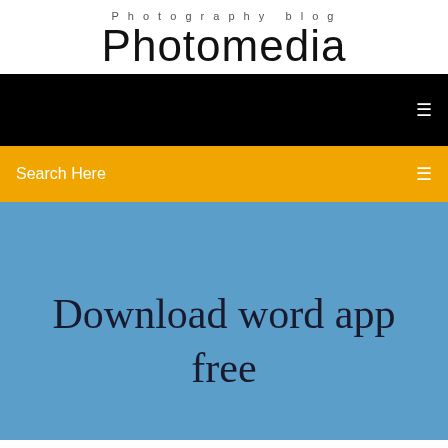Photography blog
Photomedia
[Figure (screenshot): Black navigation bar with white menu icon on right]
[Figure (screenshot): Orange/amber search bar with 'Search Here' text on left and search icon on right]
Download word app free